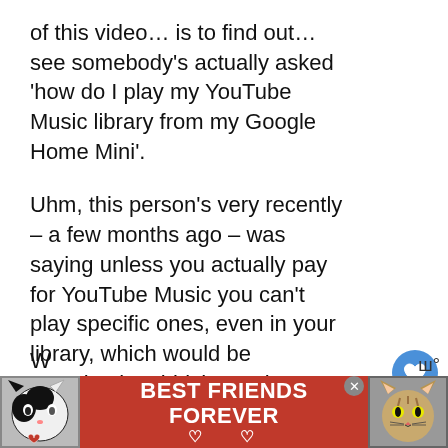of this video… is to find out… see somebody's actually asked 'how do I play my YouTube Music library from my Google Home Mini'.
Uhm, this person's very recently – a few months ago – was saying unless you actually pay for YouTube Music you can't play specific ones, even in your library, which would be completely rubbish. But let's actually test that out. So YouTube Music does migrate from my old account blah blah blah… Google Play Music can easily transition over with just one click.
[Figure (infographic): Advertisement banner with red background showing two cats (black-and-white cat on left, tabby cat on right) and bold white text 'BEST FRIENDS FOREVER' with heart symbols, with a close/X button]